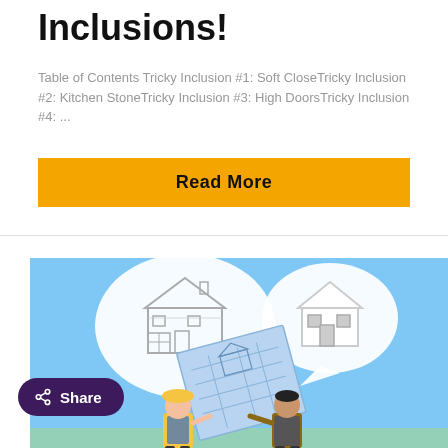Inclusions!
Table of Contents Tricky Inclusion #1:  Soft CloseTricky Inclusion #2:  Kitchen StoneTricky Inclusion #3:  High DoorsTricky Inclusion #4: ...
Read More
[Figure (illustration): Two people (a construction worker with yellow hard hat and a person in a suit) holding blueprints. They each have speech bubbles showing houses — one detailed/large, one simple/small. Light blue background.]
Share